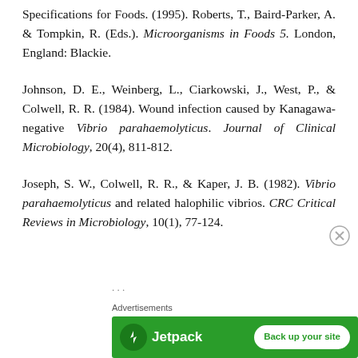Specifications for Foods. (1995). Roberts, T., Baird-Parker, A. & Tompkin, R. (Eds.). Microorganisms in Foods 5. London, England: Blackie.
Johnson, D. E., Weinberg, L., Ciarkowski, J., West, P., & Colwell, R. R. (1984). Wound infection caused by Kanagawa-negative Vibrio parahaemolyticus. Journal of Clinical Microbiology, 20(4), 811-812.
Joseph, S. W., Colwell, R. R., & Kaper, J. B. (1982). Vibrio parahaemolyticus and related halophilic vibrios. CRC Critical Reviews in Microbiology, 10(1), 77-124.
[Figure (other): Advertisement banner: Jetpack 'Back up your site' ad on green background with close button]